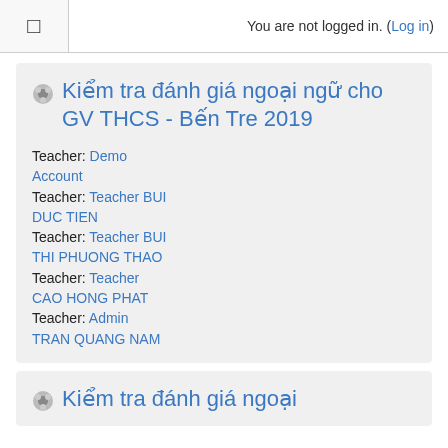☰  You are not logged in. (Log in)
Kiểm tra đánh giá ngoại ngữ cho GV THCS - Bến Tre 2019
Teacher: Demo Account
Teacher: Teacher BUI DUC TIEN
Teacher: Teacher BUI THI PHUONG THAO
Teacher: Teacher CAO HONG PHAT
Teacher: Admin TRAN QUANG NAM
Kiểm tra đánh giá ngoại